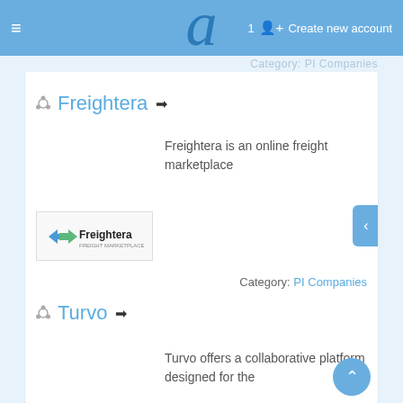≡  a  1  Create new account
Category: PI Companies
Freightera
Freightera is an online freight marketplace
[Figure (logo): Freightera company logo — blue arrow icon with 'Freightera' text on light background]
Category: PI Companies
Turvo
Turvo offers a collaborative platform designed for the